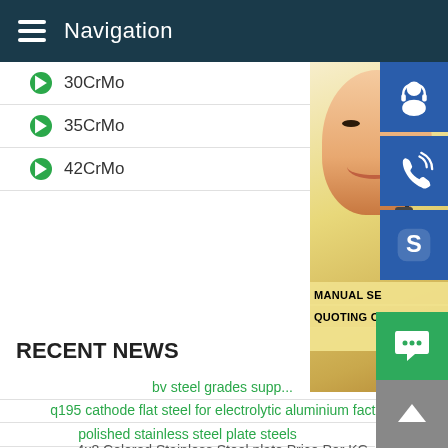Navigation
30CrMo
35CrMo
42CrMo
[Figure (photo): Customer service representative woman wearing headset, with contact interface buttons (headset icon, phone icon, Skype icon) on the right side, and overlay text: MANUAL SE..., QUOTING O..., Email: bsteel1@163.com]
RECENT NEWS
bv steel grades supp...
q195 cathode flat steel for electrolytic aluminium factory
polished stainless steel plate steels
4x8 Colored Stainless Steel plate Price Per KG